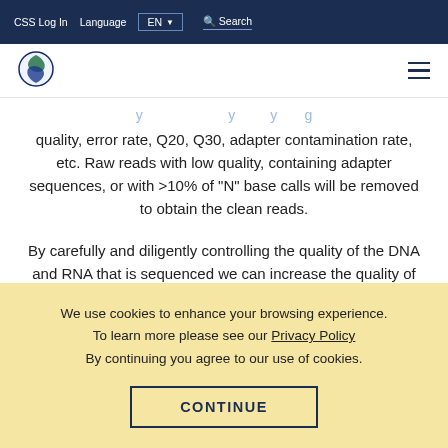CSS Log In   Language   EN   Search
[Figure (logo): Circular logo with green and blue DNA/science icon]
quality, error rate, Q20, Q30, adapter contamination rate, etc. Raw reads with low quality, containing adapter sequences, or with >10% of "N" base calls will be removed to obtain the clean reads.
By carefully and diligently controlling the quality of the DNA and RNA that is sequenced we can increase the quality of the
We use cookies to enhance your browsing experience. To learn more please see our Privacy Policy By continuing you agree to our use of cookies.
CONTINUE